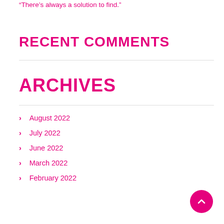“There’s always a solution to find.”
RECENT COMMENTS
ARCHIVES
August 2022
July 2022
June 2022
March 2022
February 2022